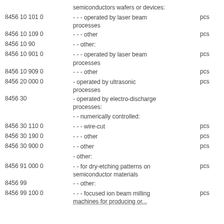semiconductors wafers or devices:
8456 10 101 0   - - - operated by laser beam processes   pcs
8456 10 109 0   - - - other   pcs
8456 10 90   - - other:
8456 10 901 0   - - - operated by laser beam processes   pcs
8456 10 909 0   - - - other   pcs
8456 20 000 0   - operated by ultrasonic processes   pcs
8456 30   - operated by electro-discharge processes:
- - numerically controlled:
8456 30 110 0   - - - wire-cut   pcs
8456 30 190 0   - - - other   pcs
8456 30 900 0   - - other   pcs
- other:
8456 91 000 0   - - for dry-etching patterns on semiconductor materials   pcs
8456 99   - - other:
8456 99 100 0   - - - focused ion beam milling machines for producing or...   pcs